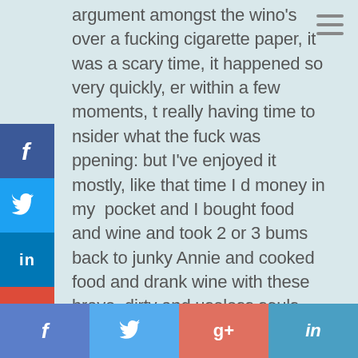argument amongst the wino's over a fucking cigarette paper, it was a scary time, it happened so very quickly, er within a few moments, t really having time to nsider what the fuck was ppening: but I've enjoyed it mostly, like that time I d money in my pocket and I bought food and wine and took 2 or 3 bums back to junky Annie and cooked food and drank wine with these brave, dirty and useless souls, that dared go on: pushing away the hours, the years of hopelessness with not a care or dream, but staying with it: because there's nothing else.
[Figure (other): Social media share buttons sidebar on left side: Facebook (blue), Twitter (light blue), LinkedIn (dark blue), Google+ (red)]
[Figure (other): Bottom social share bar with Facebook, Twitter, Google+, LinkedIn buttons]
[Figure (other): Hamburger menu icon top right corner]